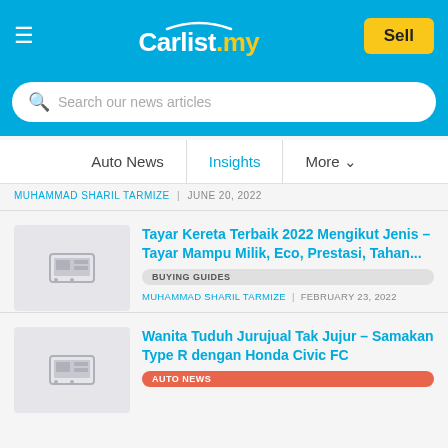Carlist.my — Sell button, hamburger menu, search bar
Auto News | Insights | More
MUHAMMAD SHARIL TARMIZE | JUNE 20, 2022
[Figure (screenshot): Article thumbnail placeholder image]
Tayar Kereta Terbaik 2022 Mengikut Jenis – Tayar Mampu Milik, Eco, Prestasi, Tahan...
BUYING GUIDES
MUHAMMAD SHARIL TARMIZE | FEBRUARY 23, 2022
[Figure (screenshot): Article thumbnail placeholder image]
Wanita Tuduh Jurujual Tak Jujur – Samakan Type R dengan Honda Civic FC
AUTO NEWS